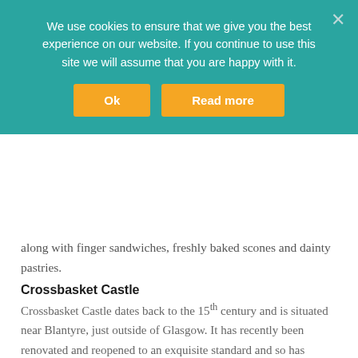We use cookies to ensure that we give you the best experience on our website. If you continue to use this site we will assume that you are happy with it.
along with finger sandwiches, freshly baked scones and dainty pastries.
Crossbasket Castle
Crossbasket Castle dates back to the 15th century and is situated near Blantyre, just outside of Glasgow. It has recently been renovated and reopened to an exquisite standard and so has become a popular wedding venue. Here you can enjoy a delightful afternoon tea created by Albert and Michel Roux Jr surrounded in luxurious interiors and magnificent gardens.
Roxburghe Hotel & Golf Course
The Roxburghe Hotel and Golf Course is located in the beautiful Scottish Borders and, as the name suggests, it